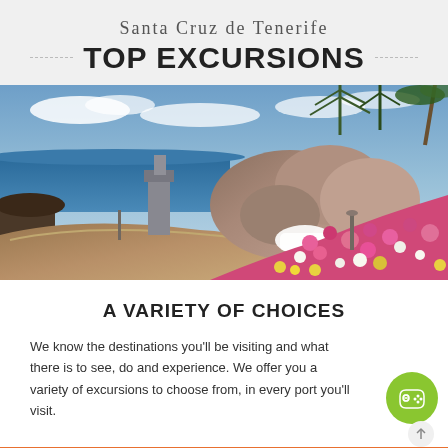Santa Cruz de Tenerife TOP EXCURSIONS
[Figure (photo): Coastal promenade in Santa Cruz de Tenerife with rocky coastline, blue sea, flowering plants including pink and white flowers, and tall agave plants in background under a partly cloudy sky]
A VARIETY OF CHOICES
We know the destinations you'll be visiting and what there is to see, do and experience. We offer you a variety of excursions to choose from, in every port you'll visit.